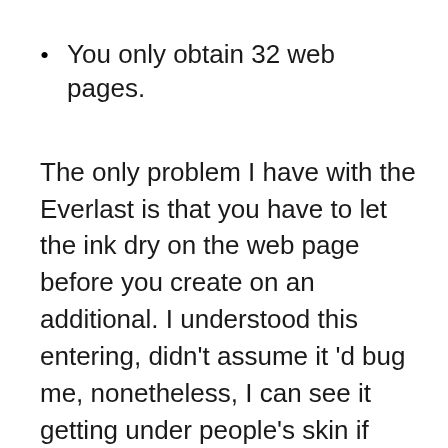You only obtain 32 web pages.
The only problem I have with the Everlast is that you have to let the ink dry on the web page before you create on an additional. I understood this entering, didn’t assume it ’d bug me, nonetheless, I can see it getting under people’s skin if they’re composing something down, require to switch over pages, and also need to wait the recommended 15 secs prior to continuing your stream of consciousness (you do not need to wait that lengthy). I have actually